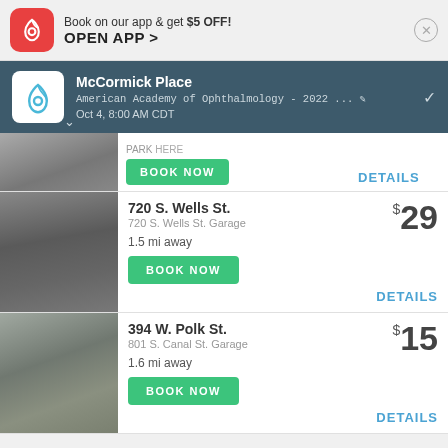[Figure (screenshot): App banner: parking app icon (red rounded square with looped cable icon), text 'Book on our app & get $5 OFF!' and 'OPEN APP >' with close button]
[Figure (screenshot): Dark teal event header showing ParkWhiz logo, 'McCormick Place', 'American Academy of Ophthalmology - 2022 ...', 'Oct 4, 8:00 AM CDT' with edit pencil icon]
[Figure (photo): Parking garage entrance photo (partial, top of listing)]
BOOK NOW
DETAILS
720 S. Wells St.
720 S. Wells St. Garage
1.5 mi away
BOOK NOW
$29
DETAILS
394 W. Polk St.
801 S. Canal St. Garage
1.6 mi away
BOOK NOW
$15
DETAILS